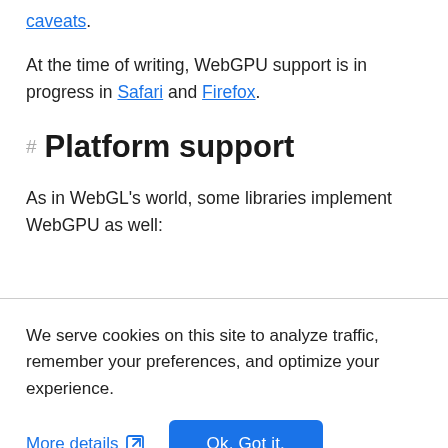caveats.
At the time of writing, WebGPU support is in progress in Safari and Firefox.
Platform support
As in WebGL's world, some libraries implement WebGPU as well:
We serve cookies on this site to analyze traffic, remember your preferences, and optimize your experience.
More details
Ok, Got it.